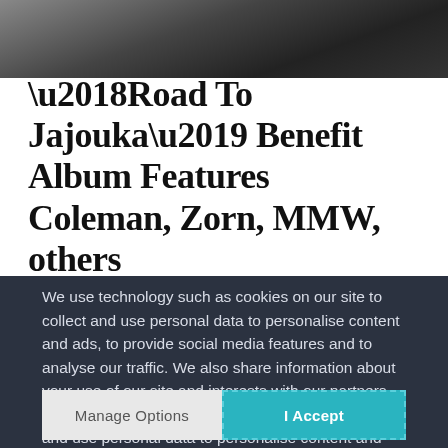[Figure (photo): Black and white photo, partially visible at top of page]
‘Road To Jajouka’ Benefit Album Features Coleman, Zorn, MMW, others
We use technology such as cookies on our site to collect and use personal data to personalise content and ads, to provide social media features and to analyse our traffic. We also share information about your use of our site and interests with our partners who also use technologies such as cookies to collect and use personal data to personalise content and ads, to provide social media features and to analyse our traffic on our site and across the internet. You can always change your mind and revisit your choices.
Manage Options
I Accept